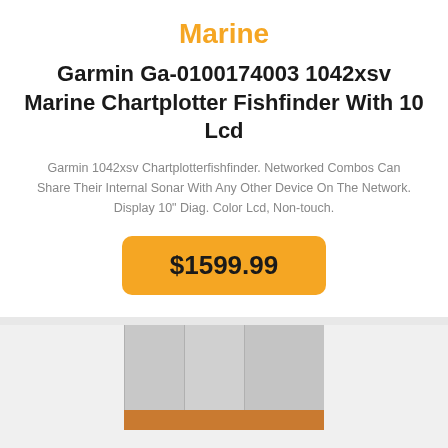Marine
Garmin Ga-0100174003 1042xsv Marine Chartplotter Fishfinder With 10 Lcd
Garmin 1042xsv Chartplotterfishfinder. Networked Combos Can Share Their Internal Sonar With Any Other Device On The Network. Display 10" Diag. Color Lcd, Non-touch.
$1599.99
[Figure (photo): Product thumbnail strip showing panels labeled 03 and 04 with a brown/wood-toned strip at the bottom]